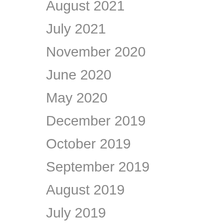August 2021
July 2021
November 2020
June 2020
May 2020
December 2019
October 2019
September 2019
August 2019
July 2019